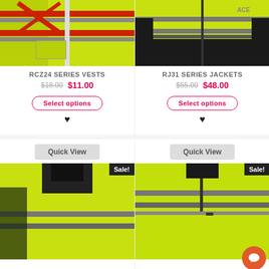[Figure (photo): Hi-vis yellow safety vest with red and grey reflective stripes, front view close-up]
RCZ24 SERIES VESTS
$18.00  $11.00
Select options
[Figure (photo): Hi-vis yellow safety jacket with grey reflective stripes and black bottom, front view close-up]
RJ31 SERIES JACKETS
$55.00  $48.00
Select options
Quick View
Quick View
[Figure (photo): Hi-vis yellow safety jacket with grey reflective stripes and black upper/collar, Sale badge]
[Figure (photo): Hi-vis yellow safety vest/jacket with grey reflective stripes close-up, Sale badge]